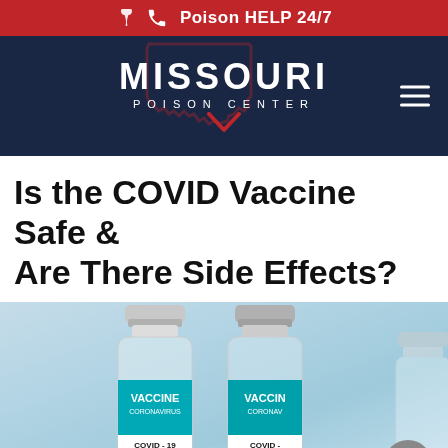Poison HELP 24/7
[Figure (logo): Missouri Poison Center logo with state outline on navy background]
Is the COVID Vaccine Safe & Are There Side Effects?
[Figure (photo): Two COVID-19 vaccine vials labeled VACCINE CORONAVIRUS COVID-19 INJECTION ONLY on a light blue background, with a syringe visible on the right side]